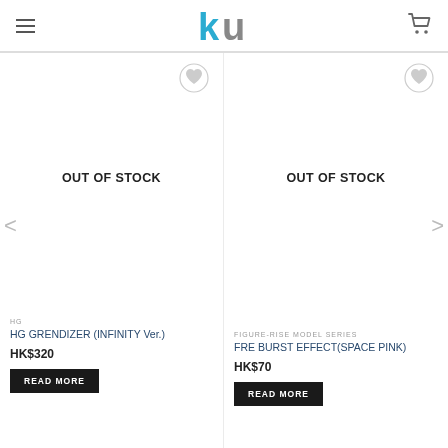KU store logo with hamburger menu and cart icon
[Figure (screenshot): E-commerce product listing page showing two products out of stock: HG GRENDIZER (INFINITY Ver.) at HK$320 and FRE BURST EFFECT(SPACE PINK) at HK$70, with navigation arrows and wishlist heart icons]
OUT OF STOCK
OUT OF STOCK
HG
HG GRENDIZER (INFINITY Ver.)
HK$320
READ MORE
FIGURE-RISE MODEL SERIES
FRE BURST EFFECT(SPACE PINK)
HK$70
READ MORE